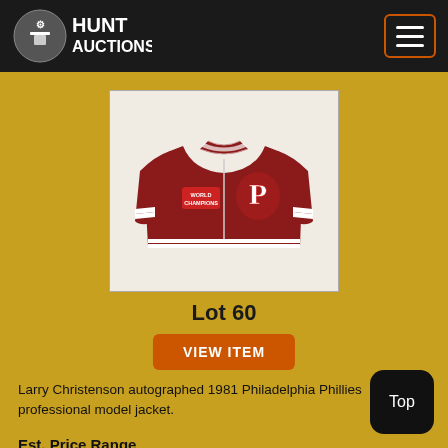Hunt Auctions
[Figure (photo): Red Philadelphia Phillies 1981 World Champions professional model jacket with white stripe trim and Phillies logo patch]
Lot 60
VIEW ITEM
Larry Christenson autographed 1981 Philadelphia Phillies professional model jacket.
Est. Price Range
($500-$750)
Sold For Price
Login or Register